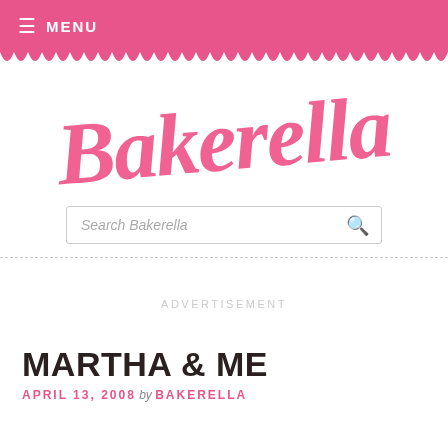≡ MENU
[Figure (logo): Bakerella script logo in pink cursive font]
Search Bakerella
ADVERTISEMENT
MARTHA & ME
APRIL 13, 2008 by BAKERELLA